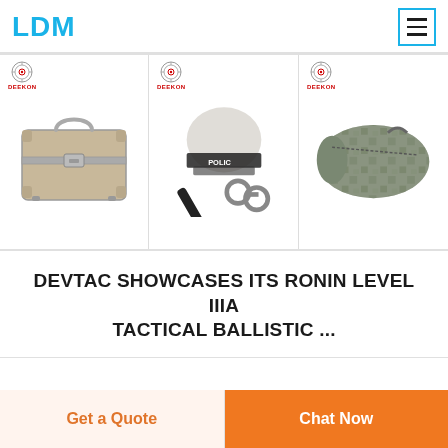LDM
[Figure (photo): Three product images side by side: a silver aluminum briefcase with Deekon branding, police riot gear (helmet with visor, baton, handcuffs) with Deekon branding, and a military sleeping bag with Deekon branding.]
DEVTAC SHOWCASES ITS RONIN LEVEL IIIA TACTICAL BALLISTIC ...
Get a Quote
Chat Now